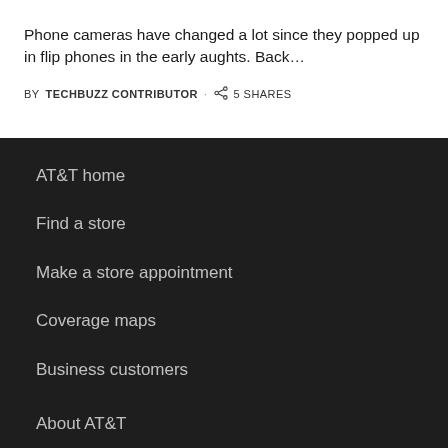Phone cameras have changed a lot since they popped up in flip phones in the early aughts. Back…
BY TECHBUZZ CONTRIBUTOR · 5 SHARES
AT&T home
Find a store
Make a store appointment
Coverage maps
Business customers
About AT&T
Contact us